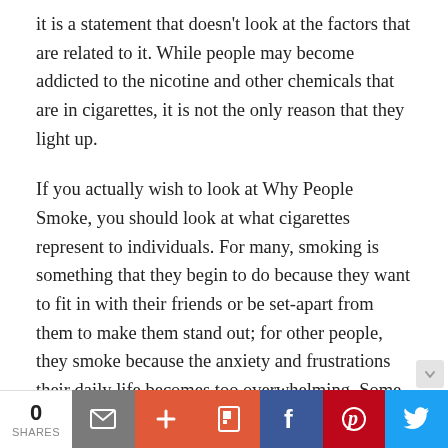it is a statement that doesn't look at the factors that are related to it. While people may become addicted to the nicotine and other chemicals that are in cigarettes, it is not the only reason that they light up.

If you actually wish to look at Why People Smoke, you should look at what cigarettes represent to individuals. For many, smoking is something that they begin to do because they want to fit in with their friends or be set-apart from them to make them stand out; for other people, they smoke because the anxiety and frustrations their daily life becomes too overwhelming. Some people smoke cigarettes, others smoke cigars, while
0 SHARES | share buttons: email, +, Flipboard, Facebook, Pinterest, Twitter